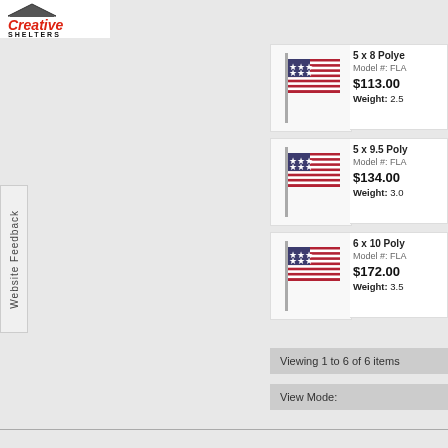[Figure (logo): Creative Shelters logo with red italic text and roof graphic]
Website Feedback
[Figure (photo): American flag product image for 5 x 8 Polyester flag]
5 x 8 Polye...
Model #: FLA...
$113.00
Weight: 2.5
[Figure (photo): American flag product image for 5 x 9.5 Polyester flag]
5 x 9.5 Poly...
Model #: FLA...
$134.00
Weight: 3.0
[Figure (photo): American flag product image for 6 x 10 Polyester flag]
6 x 10 Poly...
Model #: FLA...
$172.00
Weight: 3.5
Viewing 1 to 6 of 6 items
View Mode: